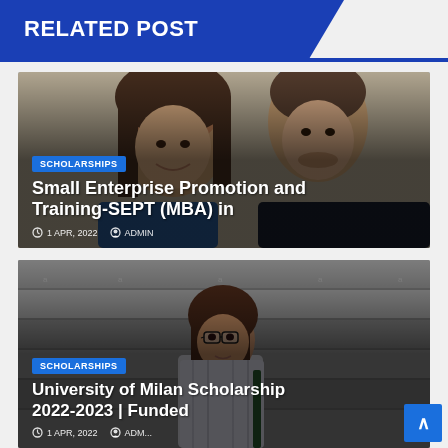RELATED POST
[Figure (photo): Two young students (a woman with long brown hair and a man) looking at something together, likely in a library or educational setting]
SCHOLARSHIPS
Small Enterprise Promotion and Training-SEPT (MBA) in
1 APR, 2022   ADMIN
[Figure (photo): A young woman with glasses and long dark hair sitting on concrete stairs, with stair architecture visible around her]
SCHOLARSHIPS
University of Milan Scholarship 2022-2023 | Funded
1 APR, 2022   ADM...